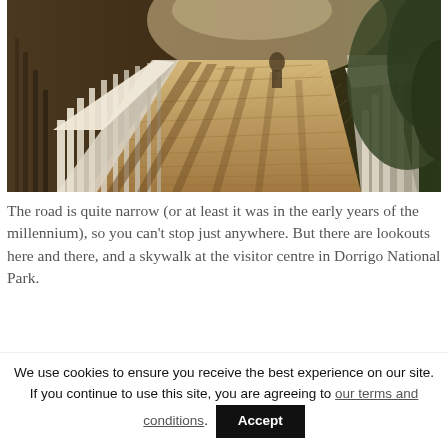[Figure (photo): Sepia-toned photograph of a wooden boardwalk/skywalk with white railings on both sides, extending into the distance. A person is visible in the background. Trees are visible on the right side. Strong shadow patterns from the railing fall across the wooden deck boards.]
The road is quite narrow (or at least it was in the early years of the millennium), so you can't stop just anywhere. But there are lookouts here and there, and a skywalk at the visitor centre in Dorrigo National Park.
We use cookies to ensure you receive the best experience on our site. If you continue to use this site, you are agreeing to our terms and conditions.